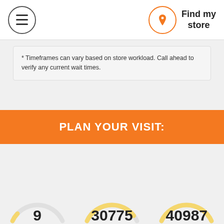Find my store
* Timeframes can vary based on store workload. Call ahead to verify any current wait times.
PLAN YOUR VISIT:
Selected store
Change
Address:
Phone:
Visit store page
9
30775
40987